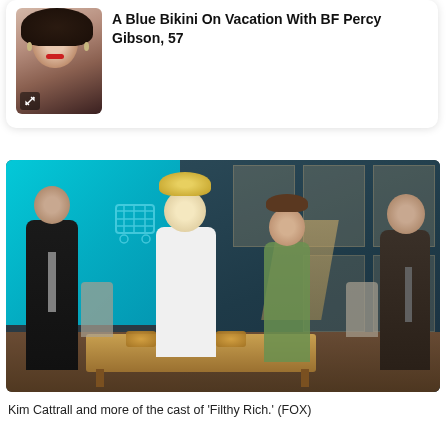A Blue Bikini On Vacation With BF Percy Gibson, 57
[Figure (photo): Headshot of a woman with dark curly hair and red lips, wearing a dark top with earrings.]
[Figure (photo): Kim Cattrall and more of the cast of 'Filthy Rich' on a TV set with dining table, blue backdrop screen showing 'Club' logo, decorative wall panels, and staircase. Four people standing/sitting in the scene.]
Kim Cattrall and more of the cast of 'Filthy Rich.' (FOX)